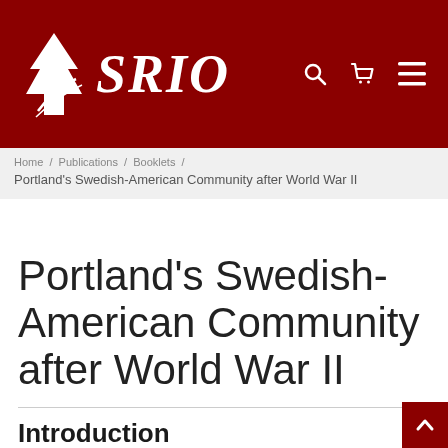[Figure (logo): SRIO logo with white pine tree icon and italic serif SRIO text on dark red background, with search, cart, and hamburger menu icons]
Home / Publications / Booklets / Portland's Swedish-American Community after World War II
Portland's Swedish-American Community after World War II
Introduction